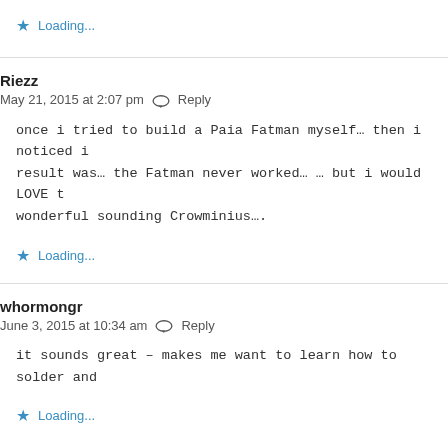Loading...
Riezz
May 21, 2015 at 2:07 pm   Reply
once i tried to build a Paia Fatman myself… then i noticed i result was… the Fatman never worked… … but i would LOVE t wonderful sounding Crowminius….
Loading...
whormongr
June 3, 2015 at 10:34 am   Reply
it sounds great – makes me want to learn how to solder and
Loading...